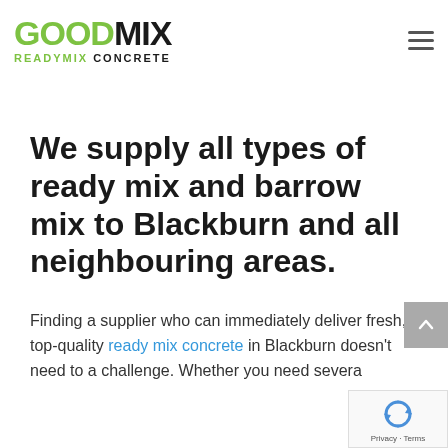[Figure (photo): Concrete/gravel texture background photo strip behind the header]
GOODMIX READYMIX CONCRETE
We supply all types of ready mix and barrow mix to Blackburn and all neighbouring areas.
Finding a supplier who can immediately deliver fresh, top-quality ready mix concrete in Blackburn doesn't need to a challenge. Whether you need severa…